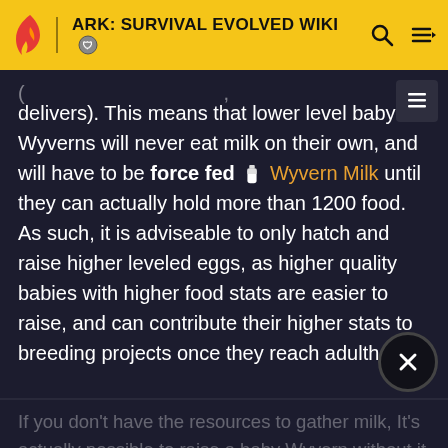ARK: SURVIVAL EVOLVED WIKI
delivers). This means that lower level baby Wyverns will never eat milk on their own, and will have to be force fed Wyvern Milk until they can actually hold more than 1200 food. As such, it is adviseable to only hatch and raise higher leveled eggs, as higher quality babies with higher food stats are easier to raise, and can contribute their higher stats to breeding projects once they reach adulthood.
If you don't have the resources to gather milk, It's actually possible to raise a baby Wyvern without it (though this can negatively impact imprint quality). Let the Food value drop to zero. At this time, the value for Health will fall and the Torpor will raise. To lower the